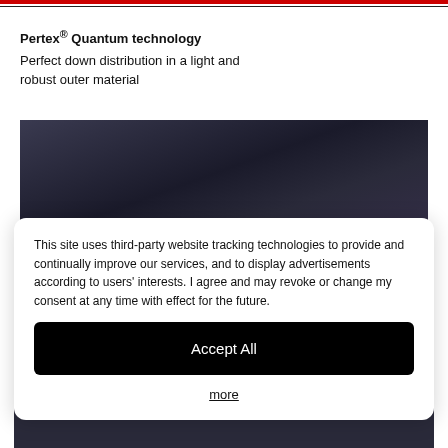Pertex® Quantum technology
Perfect down distribution in a light and robust outer material
[Figure (photo): Close-up photo of dark navy/black quilted down jacket fabric showing puffed panels]
This site uses third-party website tracking technologies to provide and continually improve our services, and to display advertisements according to users' interests. I agree and may revoke or change my consent at any time with effect for the future.
Accept All
more